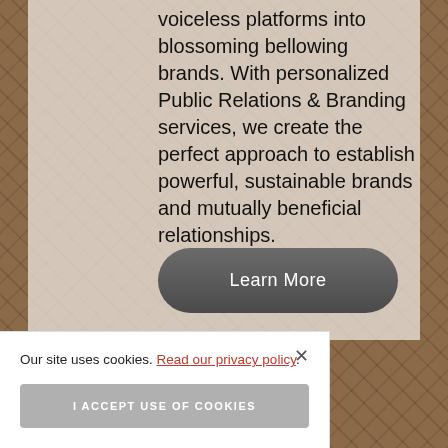voiceless platforms into blossoming bellowing brands. With personalized Public Relations & Branding services, we create the perfect approach to establish powerful, sustainable brands and mutually beneficial relationships.
[Figure (other): Learn More button — dark grey rounded pill-shaped button with white text]
Our site uses cookies. Read our privacy policy.
[Figure (other): I ACCEPT USE OF COOKIES button — grey rectangular button]